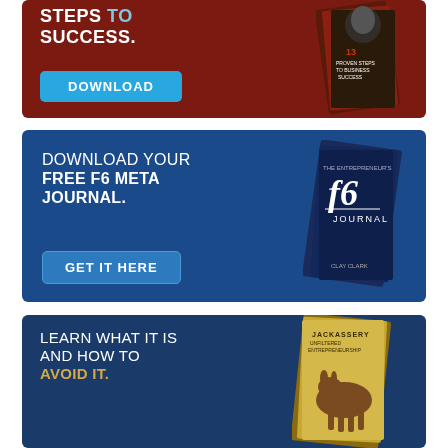[Figure (infographic): Dark red banner ad with text 'STEPS TO SUCCESS.' and a DOWNLOAD button, with a book cover image on the right]
[Figure (infographic): Blue banner ad with text 'DOWNLOAD YOUR FREE F6 META JOURNAL.' and a GET IT HERE button, with the F6 Journal book cover on the right]
[Figure (infographic): Dark blue banner ad with text 'LEARN WHAT IT IS AND HOW TO AVOID IT.' with a Jackassery book cover on the right]